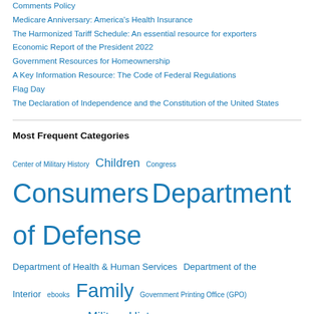Comments Policy
Medicare Anniversary: America's Health Insurance
The Harmonized Tariff Schedule: An essential resource for exporters
Economic Report of the President 2022
Government Resources for Homeownership
A Key Information Resource: The Code of Federal Regulations
Flag Day
The Declaration of Independence and the Constitution of the United States
Most Frequent Categories
Center of Military History  Children  Congress  Consumers  Department of Defense  Department of Health & Human Services  Department of the Interior  ebooks  Family  Government Printing Office (GPO)  Health care  Libraries  Military History  NASA  National Park